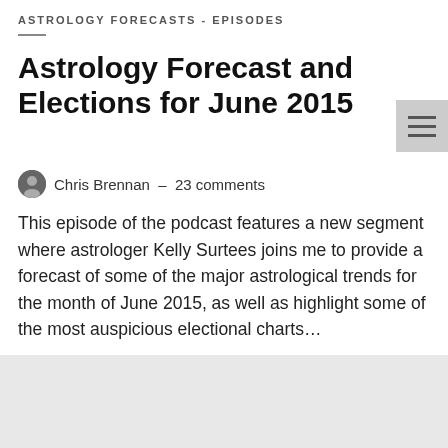ASTROLOGY FORECASTS - EPISODES
Astrology Forecast and Elections for June 2015
Chris Brennan – 23 comments
This episode of the podcast features a new segment where astrologer Kelly Surtees joins me to provide a forecast of some of the major astrological trends for the month of June 2015, as well as highlight some of the most auspicious electional charts…
[Figure (illustration): Podcast thumbnail image with blue background showing a microphone icon surrounded by astrological symbols/zodiac signs in white]